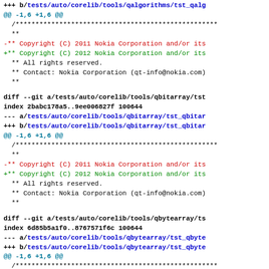+++ b/tests/auto/corelib/tools/qalgorithms/tst_qalg
@@ -1,6 +1,6 @@
/***********************************************
**
-** Copyright (C) 2011 Nokia Corporation and/or its
+** Copyright (C) 2012 Nokia Corporation and/or its
** All rights reserved.
** Contact: Nokia Corporation (qt-info@nokia.com)
**
diff --git a/tests/auto/corelib/tools/qbitarray/tst
index 2babc178a5..9ee006827f 100644
--- a/tests/auto/corelib/tools/qbitarray/tst_qbitar
+++ b/tests/auto/corelib/tools/qbitarray/tst_qbitar
@@ -1,6 +1,6 @@
/***********************************************
**
-** Copyright (C) 2011 Nokia Corporation and/or its
+** Copyright (C) 2012 Nokia Corporation and/or its
** All rights reserved.
** Contact: Nokia Corporation (qt-info@nokia.com)
**
diff --git a/tests/auto/corelib/tools/qbytearray/ts
index 6d85b5a1f0..8767571f6c 100644
--- a/tests/auto/corelib/tools/qbytearray/tst_qbyte
+++ b/tests/auto/corelib/tools/qbytearray/tst_qbyte
@@ -1,6 +1,6 @@
/***********************************************
**
-** Copyright (C) 2011 Nokia Corporation and/or its